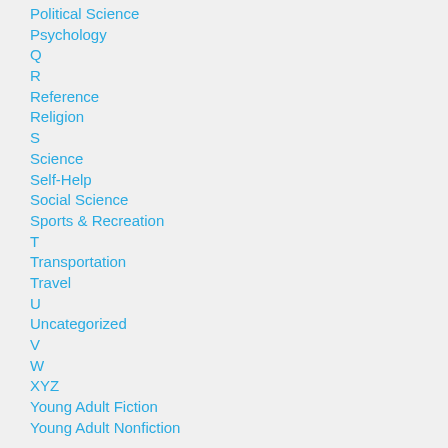Political Science
Psychology
Q
R
Reference
Religion
S
Science
Self-Help
Social Science
Sports & Recreation
T
Transportation
Travel
U
Uncategorized
V
W
XYZ
Young Adult Fiction
Young Adult Nonfiction